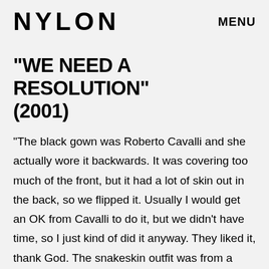NYLON   MENU
"WE NEED A RESOLUTION" (2001)
"The black gown was Roberto Cavalli and she actually wore it backwards. It was covering too much of the front, but it had a lot of skin out in the back, so we flipped it. Usually I would get an OK from Cavalli to do it, but we didn't have time, so I just kind of did it anyway. They liked it, thank God. The snakeskin outfit was from a designer on Rodeo